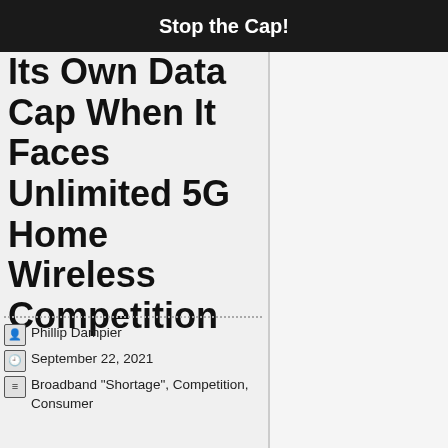Stop the Cap!
Its Own Data Cap When It Faces Unlimited 5G Home Wireless Competition
Phillip Dampier
September 22, 2021
Broadband "Shortage", Competition, Consumer